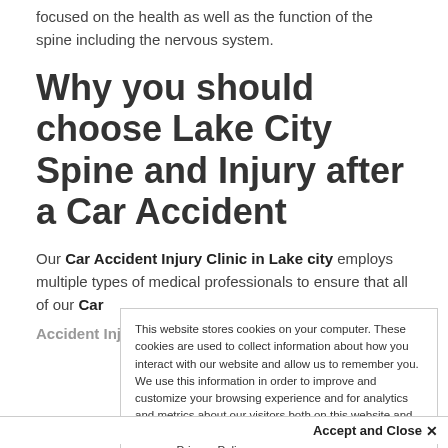focused on the health as well as the function of the spine including the nervous system.
Why you should choose Lake City Spine and Injury after a Car Accident
Our Car Accident Injury Clinic in Lake city employs multiple types of medical professionals to ensure that all of our Car Accident Injury patients treatment needs are met.
This website stores cookies on your computer. These cookies are used to collect information about how you interact with our website and allow us to remember you. We use this information in order to improve and customize your browsing experience and for analytics and metrics about our visitors both on this website and other media. To find out more about the cookies we use, see our Privacy Policy.
Accept and Close ✕
Your browser settings do not allow cross-site tracking for advertising. Click on this page to allow AdRoll to use cross-site tracking to tailor ads to you. Learn more or opt out of this AdRoll tracking by clicking here. This message only appears once.